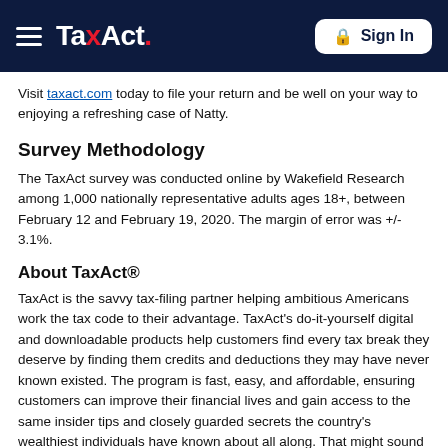TaxAct Sign In
Visit taxact.com today to file your return and be well on your way to enjoying a refreshing case of Natty.
Survey Methodology
The TaxAct survey was conducted online by Wakefield Research among 1,000 nationally representative adults ages 18+, between February 12 and February 19, 2020. The margin of error was +/- 3.1%.
About TaxAct®
TaxAct is the savvy tax-filing partner helping ambitious Americans work the tax code to their advantage. TaxAct's do-it-yourself digital and downloadable products help customers find every tax break they deserve by finding them credits and deductions they may have never known existed. The program is fast, easy, and affordable, ensuring customers can improve their financial lives and gain access to the same insider tips and closely guarded secrets the country's wealthiest individuals have known about all along. That might sound too good to be legal. But trust us. It is. It's surprisingly legal.